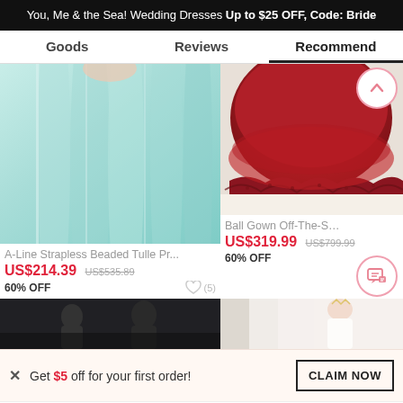You, Me & the Sea! Wedding Dresses Up to $25 OFF, Code: Bride
Goods | Reviews | Recommend
[Figure (photo): Light blue/mint A-Line strapless beaded tulle prom dress, showing skirt portion]
[Figure (photo): Red ball gown off-the-shoulder dress, showing skirt with lace detail]
A-Line Strapless Beaded Tulle Pr...
US$214.39  US$535.89  60% OFF
Ball Gown Off-The-Shoulder D...
US$319.99  US$799.99  60% OFF
[Figure (photo): Dark green/forest wedding photo strip at bottom left]
[Figure (photo): Bride in white dress with tiara at bottom right]
Get $5 off for your first order!
CLAIM NOW
ADD TO BAG